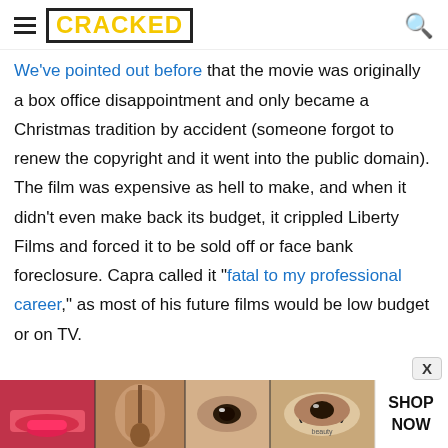CRACKED (logo with hamburger menu and search icon)
We've pointed out before that the movie was originally a box office disappointment and only became a Christmas tradition by accident (someone forgot to renew the copyright and it went into the public domain). The film was expensive as hell to make, and when it didn't even make back its budget, it crippled Liberty Films and forced it to be sold off or face bank foreclosure. Capra called it "fatal to my professional career," as most of his future films would be low budget or on TV.
[Figure (photo): Ulta Beauty advertisement banner with close-up photos of women's faces with makeup, lipstick, eye makeup, and the Ulta logo, with a 'SHOP NOW' call to action.]